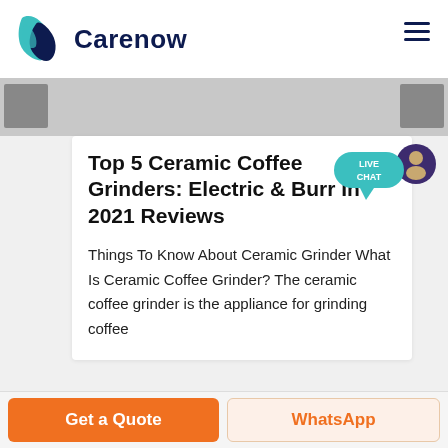Carenow
[Figure (logo): Carenow logo: teal leaf/tooth shape with dark navy overlapping droplet, brand name 'Carenow' in dark navy bold next to it]
[Figure (infographic): Live Chat speech bubble badge in teal with text 'LIVE CHAT', with a dark purple person icon to the right]
Top 5 Ceramic Coffee Grinders: Electric & Burr In 2021 Reviews
Things To Know About Ceramic Grinder What Is Ceramic Coffee Grinder? The ceramic coffee grinder is the appliance for grinding coffee
Get a Quote | WhatsApp